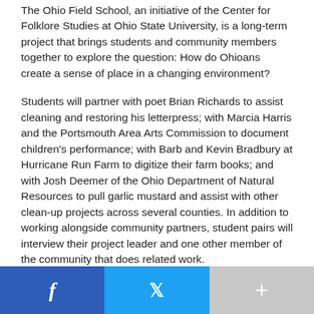The Ohio Field School, an initiative of the Center for Folklore Studies at Ohio State University, is a long-term project that brings students and community members together to explore the question: How do Ohioans create a sense of place in a changing environment?
Students will partner with poet Brian Richards to assist cleaning and restoring his letterpress; with Marcia Harris and the Portsmouth Area Arts Commission to document children's performance; with Barb and Kevin Bradbury at Hurricane Run Farm to digitize their farm books; and with Josh Deemer of the Ohio Department of Natural Resources to pull garlic mustard and assist with other clean-up projects across several counties. In addition to working alongside community partners, student pairs will interview their project leader and one other member of the community that does related work.
So when you see some young folks wandering around town next week with tape recorders, feel free to stop and introduce yourself.